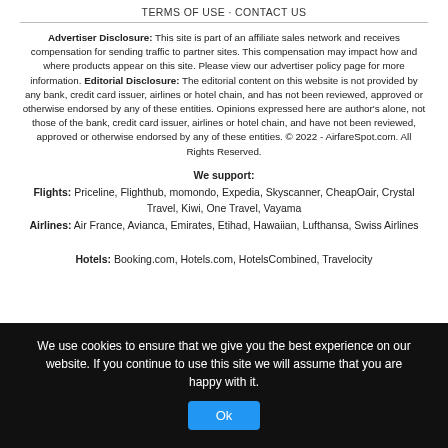TERMS OF USE · CONTACT US
Advertiser Disclosure: This site is part of an affiliate sales network and receives compensation for sending traffic to partner sites. This compensation may impact how and where products appear on this site. Please view our advertiser policy page for more information. Editorial Disclosure: The editorial content on this website is not provided by any bank, credit card issuer, airlines or hotel chain, and has not been reviewed, approved or otherwise endorsed by any of these entities. Opinions expressed here are author's alone, not those of the bank, credit card issuer, airlines or hotel chain, and have not been reviewed, approved or otherwise endorsed by any of these entities. © 2022 - AirfareSpot.com. All Rights Reserved.
We support: Flights: Priceline, Flighthub, momondo, Expedia, Skyscanner, CheapOair, Crystal Travel, Kiwi, One Travel, Vayama Airlines: Air France, Avianca, Emirates, Etihad, Hawaiian, Lufthansa, Swiss Airlines Hotels: Booking.com, Hotels.com, HotelsCombined, Travelocity
We use cookies to ensure that we give you the best experience on our website. If you continue to use this site we will assume that you are happy with it.